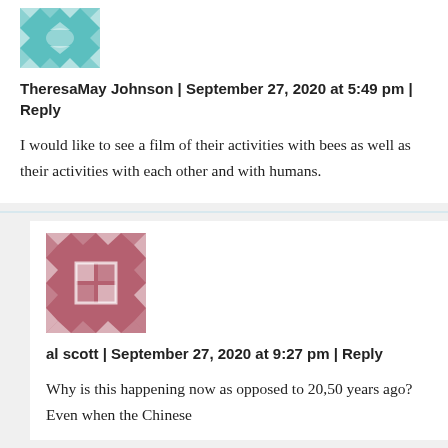[Figure (illustration): Teal/green geometric quilt-pattern avatar for TheresaMay Johnson]
TheresaMay Johnson | September 27, 2020 at 5:49 pm | Reply
I would like to see a film of their activities with bees as well as their activities with each other and with humans.
[Figure (illustration): Dusty rose/mauve geometric quilt-pattern avatar with central grid square for al scott]
al scott | September 27, 2020 at 9:27 pm | Reply
Why is this happening now as opposed to 20,50 years ago? Even when the Chinese